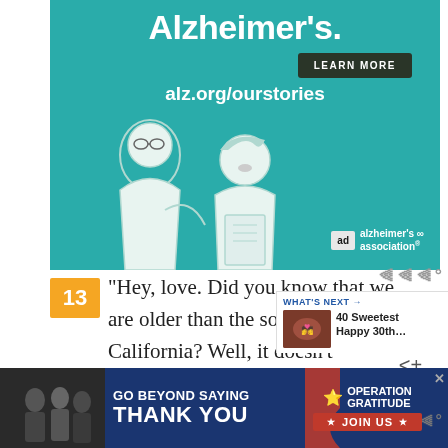[Figure (illustration): Alzheimer's Association advertisement with teal background showing two illustrated figures (an older man and younger person), text reading 'Alzheimer's.', a 'LEARN MORE' button, and 'alz.org/ourstories' URL, with the Alzheimer's Association logo.]
13
“Hey, love. Did you know that we are older than the song Hotel California? Well, it doesn’t matter… old songs, like our love, are the best! Happy 50th anniver
WHAT’S NEXT → 40 Sweetest Happy 30th…
[Figure (illustration): Operation Gratitude advertisement with dark blue background reading 'GO BEYOND SAYING THANK YOU' with Operation Gratitude logo and 'JOIN US' button in red.]